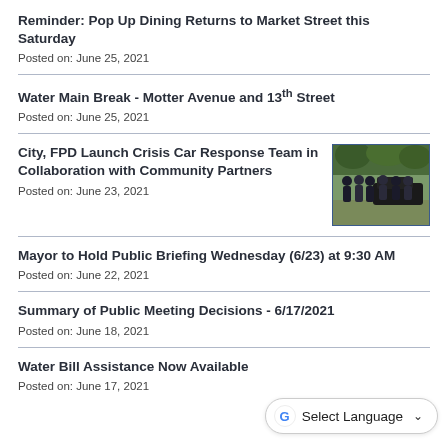Reminder: Pop Up Dining Returns to Market Street this Saturday
Posted on: June 25, 2021
Water Main Break - Motter Avenue and 13th Street
Posted on: June 25, 2021
City, FPD Launch Crisis Car Response Team in Collaboration with Community Partners
[Figure (photo): Group photo of officials/officers standing outdoors near a vehicle]
Posted on: June 23, 2021
Mayor to Hold Public Briefing Wednesday (6/23) at 9:30 AM
Posted on: June 22, 2021
Summary of Public Meeting Decisions - 6/17/2021
Posted on: June 18, 2021
Water Bill Assistance Now Available
Posted on: June 17, 2021